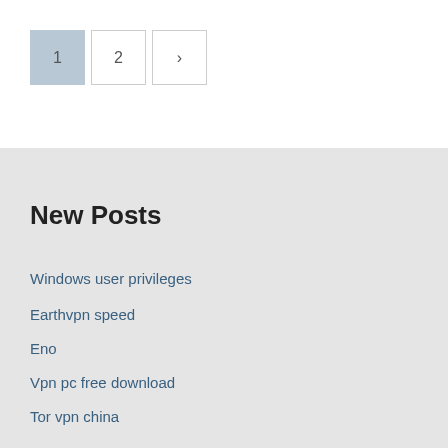1
2
>
New Posts
Windows user privileges
Earthvpn speed
Eno
Vpn pc free download
Tor vpn china